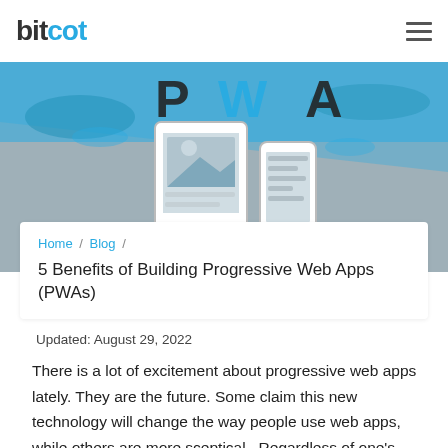bitcot
[Figure (illustration): Hero banner illustration showing PWA text in bold letters with tablet and smartphone devices on a grey and teal background]
Home / Blog / 5 Benefits of Building Progressive Web Apps (PWAs)
5 Benefits of Building Progressive Web Apps (PWAs)
Updated: August 29, 2022
There is a lot of excitement about progressive web apps lately. They are the future. Some claim this new technology will change the way people use web apps, while others are more sceptical.  Regardless of one's opinion on progressive web apps, it's hard to argue that there are many benefits to building one.